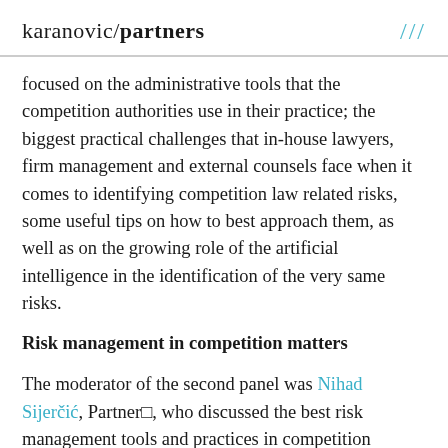karanovic/partners ///
focused on the administrative tools that the competition authorities use in their practice; the biggest practical challenges that in-house lawyers, firm management and external counsels face when it comes to identifying competition law related risks, some useful tips on how to best approach them, as well as on the growing role of the artificial intelligence in the identification of the very same risks.
Risk management in competition matters
The moderator of the second panel was Nihad Sijerčić, Partner□, who discussed the best risk management tools and practices in competition matters and the biggest challenges in assessing